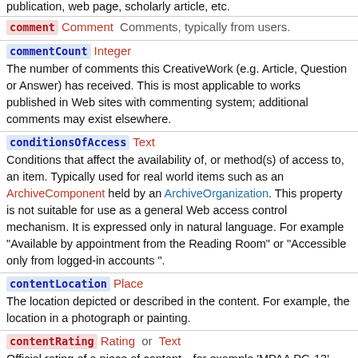publication, web page, scholarly article, etc.
comment  Comment  Comments, typically from users.
commentCount  Integer
The number of comments this CreativeWork (e.g. Article, Question or Answer) has received. This is most applicable to works published in Web sites with commenting system; additional comments may exist elsewhere.
conditionsOfAccess  Text
Conditions that affect the availability of, or method(s) of access to, an item. Typically used for real world items such as an ArchiveComponent held by an ArchiveOrganization. This property is not suitable for use as a general Web access control mechanism. It is expressed only in natural language. For example "Available by appointment from the Reading Room" or "Accessible only from logged-in accounts ".
contentLocation  Place
The location depicted or described in the content. For example, the location in a photograph or painting.
contentRating  Rating or Text
Official rating of a piece of content—for example,'MPAA PG-13'.
contentReferenceTime  DateTime
The specific time described by a creative work, for works (e.g. articles, video objects etc.) that emphasise a particular moment within an Event.
contributor  Organization or Person